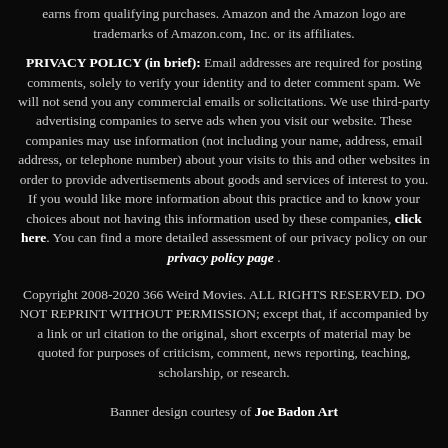earns from qualifying purchases. Amazon and the Amazon logo are trademarks of Amazon.com, Inc. or its affiliates.
PRIVACY POLICY (in brief): Email addresses are required for posting comments, solely to verify your identity and to deter comment spam. We will not send you any commercial emails or solicitations. We use third-party advertising companies to serve ads when you visit our website. These companies may use information (not including your name, address, email address, or telephone number) about your visits to this and other websites in order to provide advertisements about goods and services of interest to you. If you would like more information about this practice and to know your choices about not having this information used by these companies, click here. You can find a more detailed assessment of our privacy policy on our privacy policy page .
Copyright 2008-2020 366 Weird Movies. ALL RIGHTS RESERVED. DO NOT REPRINT WITHOUT PERMISSION; except that, if accompanied by a link or url citation to the original, short excerpts of material may be quoted for purposes of criticism, comment, news reporting, teaching, scholarship, or research.
Banner design courtesy of Joe Badon Art